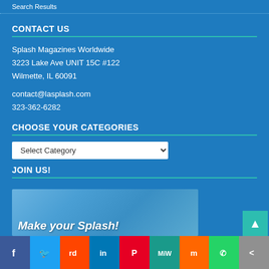Search Results
CONTACT US
Splash Magazines Worldwide
3223 Lake Ave UNIT 15C #122
Wilmette, IL 60091
contact@lasplash.com
323-362-6282
CHOOSE YOUR CATEGORIES
Select Category
JOIN US!
[Figure (photo): Blurred water/splash background image with text 'Make your Splash!' overlaid in bold italic white font]
[Figure (infographic): Social media sharing bar with icons: Facebook, Twitter, Reddit, LinkedIn, Pinterest, MeWe, Mix, WhatsApp, Share]